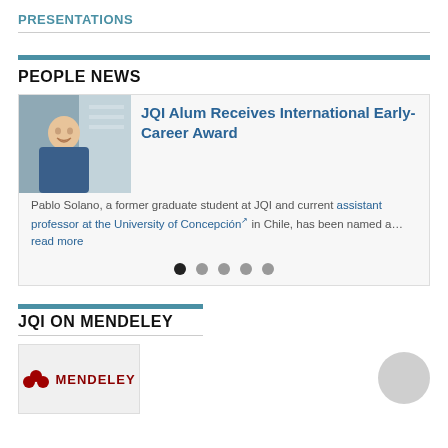PRESENTATIONS
PEOPLE NEWS
JQI Alum Receives International Early-Career Award
Pablo Solano, a former graduate student at JQI and current assistant professor at the University of Concepción in Chile, has been named a… read more
JQI ON MENDELEY
[Figure (logo): Mendeley logo with three overlapping red circles and the word MENDELEY in dark red]